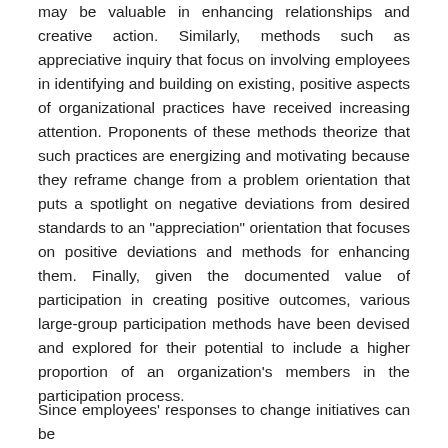may be valuable in enhancing relationships and creative action. Similarly, methods such as appreciative inquiry that focus on involving employees in identifying and building on existing, positive aspects of organizational practices have received increasing attention. Proponents of these methods theorize that such practices are energizing and motivating because they reframe change from a problem orientation that puts a spotlight on negative deviations from desired standards to an "appreciation" orientation that focuses on positive deviations and methods for enhancing them. Finally, given the documented value of participation in creating positive outcomes, various large-group participation methods have been devised and explored for their potential to include a higher proportion of an organization's members in the participation process.
Since employees' responses to change initiatives can be